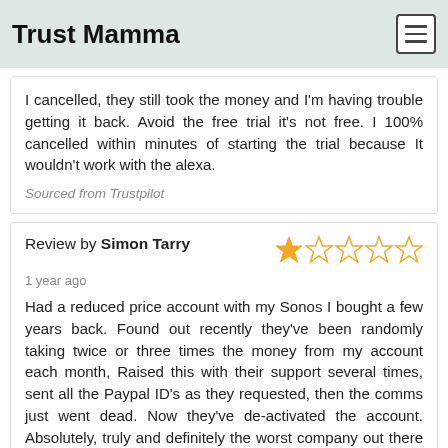Trust Mamma
I cancelled, they still took the money and I'm having trouble getting it back. Avoid the free trial it's not free. I 100% cancelled within minutes of starting the trial because It wouldn't work with the alexa.
Sourced from Trustpilot
Review by Simon Tarry
1 year ago
Had a reduced price account with my Sonos I bought a few years back. Found out recently they've been randomly taking twice or three times the money from my account each month, Raised this with their support several times, sent all the Paypal ID's as they requested, then the comms just went dead. Now they've de-activated the account. Absolutely, truly and definitely the worst company out there - not just for streaming, but for anything. And look out for the 'sorry' response to this message, and 'we couldn't find the